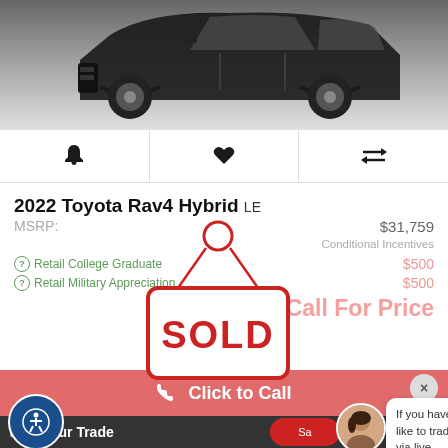[Figure (photo): Partial view of a dark-colored Toyota RAV4 Hybrid SUV from the front quarter angle, showing hood and wheel]
[Figure (infographic): Three icon bar with bell (alert), heart (favorite), and arrows (compare) icons]
2022 Toyota Rav4 Hybrid LE
MSRP: $31,759
Conditional Incentives
Retail College Graduate $500
Retail Military Appreciation $500
Call For Price
[Figure (infographic): Red SOLD sign hanging from a hook, displayed as an overlay on the vehicle listing]
Click to Call
alue Your Trade
If you have a vehicle you would like to trade-in, we could assist you via live